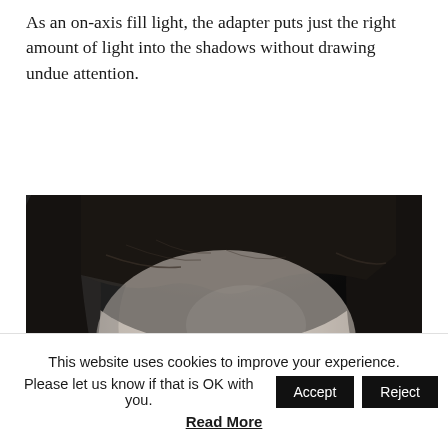As an on-axis fill light, the adapter puts just the right amount of light into the shadows without drawing undue attention.
[Figure (photo): Black and white close-up portrait photograph showing the top portion of a person's face — forehead, hairline with dark hair, and top of eyebrows visible against a dark grey background.]
This website uses cookies to improve your experience. Please let us know if that is OK with you. [Accept] [Reject]
Read More